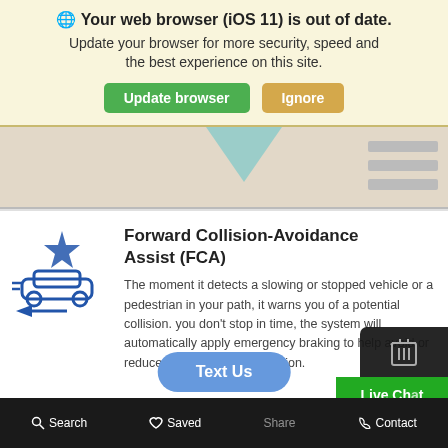🌐 Your web browser (iOS 11) is out of date.
Update your browser for more security, speed and the best experience on this site.
[Figure (screenshot): Browser update banner with green 'Update browser' button and tan 'Ignore' button]
[Figure (map): Partial map view showing tan/beige map background with teal triangle shape and gray bar elements on right]
[Figure (illustration): Blue icon showing car collision avoidance with star and arrow]
Forward Collision-Avoidance Assist (FCA)
The moment it detects a slowing or stopped vehicle or a pedestrian in your path, it warns you of a potential collision. you don't stop in time, the system will automatically apply emergency braking to help avoid or reduce the severity of a collision.
Text Us
Live Chat
Search   Saved   Share   Contact